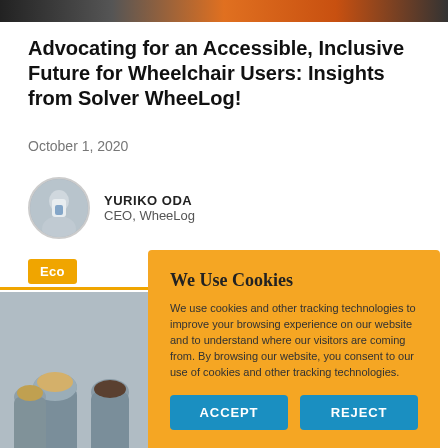[Figure (photo): Top banner image strip showing people, colorful background]
Advocating for an Accessible, Inclusive Future for Wheelchair Users: Insights from Solver WheeLog!
October 1, 2020
YURIKO ODA
CEO, WheeLog
Eco
[Figure (photo): Bottom portion showing people from behind, classroom or meeting setting]
We Use Cookies

We use cookies and other tracking technologies to improve your browsing experience on our website and to understand where our visitors are coming from. By browsing our website, you consent to our use of cookies and other tracking technologies.

ACCEPT   REJECT